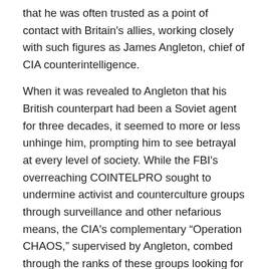that he was often trusted as a point of contact with Britain's allies, working closely with such figures as James Angleton, chief of CIA counterintelligence.
When it was revealed to Angleton that his British counterpart had been a Soviet agent for three decades, it seemed to more or less unhinge him, prompting him to see betrayal at every level of society. While the FBI's overreaching COINTELPRO sought to undermine activist and counterculture groups through surveillance and other nefarious means, the CIA's complementary “Operation CHAOS,” supervised by Angleton, combed through the ranks of these groups looking for foreign influence. When genuine Soviet defectors attempted to provide American intelligence with information, Angleton retained the memory of having been burned badly once before, and the effectiveness of these assets was thereby compromised